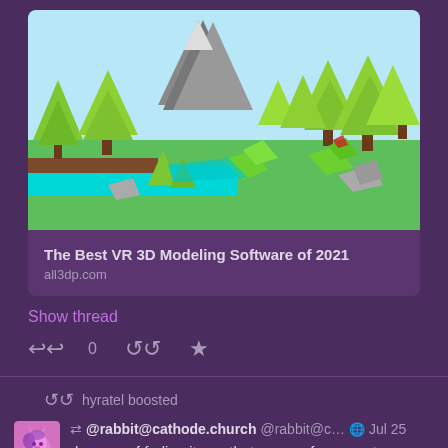[Figure (screenshot): Low-poly 3D landscape scene with green trees, a mountain, river, and colorful low-polygon creatures]
The Best VR 3D Modeling Software of 2021
all3dp.com
Show thread
0
hyratel boosted
@rabbit@cathode.church @rabbit@c... Jul 25
demons of fedi unite so that we can form a cute